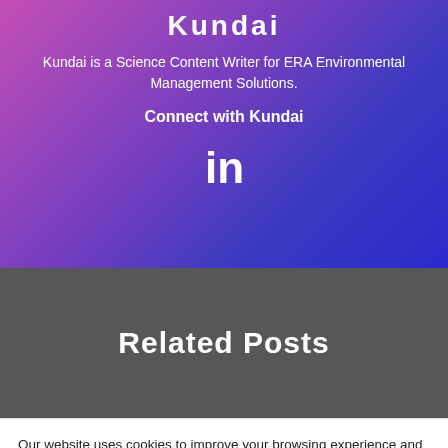Kundai
Kundai is a Science Content Writer for ERA Environmental Management Solutions.
Connect with Kundai
[Figure (logo): LinkedIn logo icon in white]
Related Posts
Our website uses cookies to improve your browsing experience and analyze site usage.